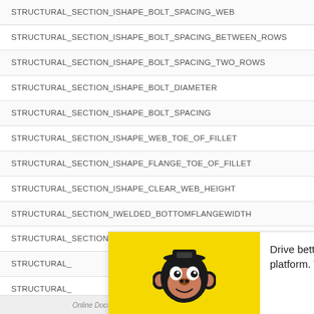STRUCTURAL_SECTION_ISHAPE_BOLT_SPACING_WEB
STRUCTURAL_SECTION_ISHAPE_BOLT_SPACING_BETWEEN_ROWS
STRUCTURAL_SECTION_ISHAPE_BOLT_SPACING_TWO_ROWS
STRUCTURAL_SECTION_ISHAPE_BOLT_DIAMETER
STRUCTURAL_SECTION_ISHAPE_BOLT_SPACING
STRUCTURAL_SECTION_ISHAPE_WEB_TOE_OF_FILLET
STRUCTURAL_SECTION_ISHAPE_FLANGE_TOE_OF_FILLET
STRUCTURAL_SECTION_ISHAPE_CLEAR_WEB_HEIGHT
STRUCTURAL_SECTION_IWELDED_BOTTOMFLANGEWIDTH
STRUCTURAL_SECTION_IWELDED_BOTTOMFLANGETHICKNESS
STRUCTURAL_
STRUCTURAL_
STRUCTURAL_
[Figure (infographic): Mailchimp advertisement overlay with yellow background logo area showing cartoon monkey head and 'mailchimp' text, alongside text 'Drive better results with a smart marketing platform. Try Mailchimp today.' and 'ADS VIA CARBON' label]
Online Documentation for the Revit API  |  GUI falanao